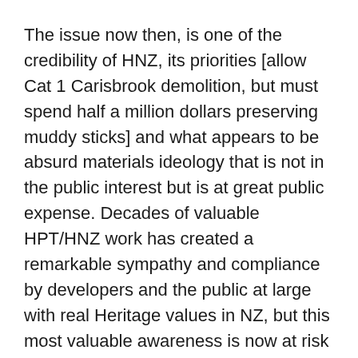The issue now then, is one of the credibility of HNZ, its priorities [allow Cat 1 Carisbrook demolition, but must spend half a million dollars preserving muddy sticks] and what appears to be absurd materials ideology that is not in the public interest but is at great public expense. Decades of valuable HPT/HNZ work has created a remarkable sympathy and compliance by developers and the public at large with real Heritage values in NZ, but this most valuable awareness is now at risk because of new ideologies, wasteful legal processes, and some failures to preserve what is of real Heritage value.
The burgeoning compliance disease that keeps growing in Planning and Consents is now infecting HNZ, and avoidance and non-compliance will inevitably result as the high-regard which HPT/HNZ had earned becomes eroded.